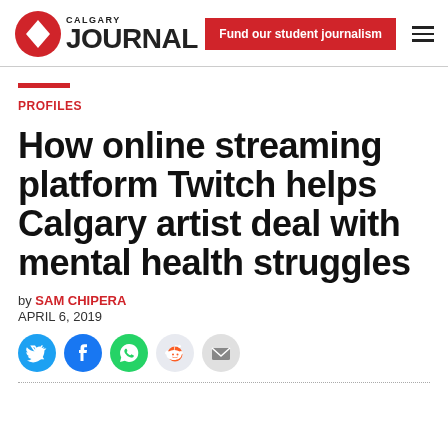Calgary Journal — Fund our student journalism
PROFILES
How online streaming platform Twitch helps Calgary artist deal with mental health struggles
by SAM CHIPERA
APRIL 6, 2019
[Figure (other): Social sharing icons: Twitter, Facebook, WhatsApp, Reddit, Email]